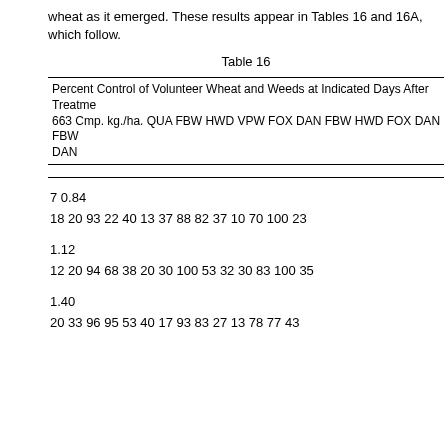wheat as it emerged. These results appear in Tables 16 and 16A, which follow.
Table 16
| Percent Control of Volunteer Wheat and Weeds at Indicated Days After Treatment | 663 Cmp. kg./ha. QUA FBW HWD VPW FOX DAN FBW HWD FOX DAN FBW DAN |
| --- | --- |
| 7 0.84 |  |
| 18 20 93 22 40 13 37 88 82 37 10 70 100 23 |  |
| 1.12 |  |
| 12 20 94 68 38 20 30 100 53 32 30 83 100 35 |  |
| 1.40 |  |
| 20 33 96 95 53 40 17 93 83 27 13 78 77 43 |  |